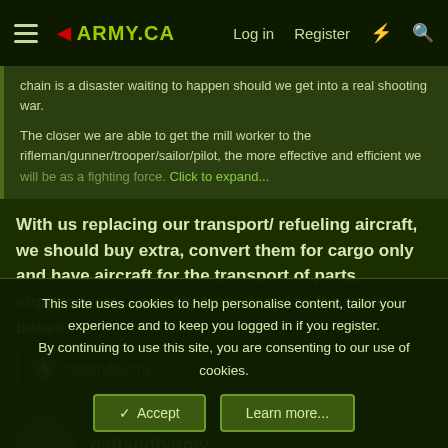◄ARMY.CA  Log in  Register
chain is a disaster waiting to happen should we get into a real shooting war.
The closer we are able to get the mill worker to the rifleman/gunner/trooper/sailor/pilot, the more effective and efficient we will be as a fighting force. Click to expand...
With us replacing our transport/ refueling aircraft, we should buy extra, convert them for cargo only and have aircraft for the transport of parts, supplies, etc... quickly from depot to the various bases.
daftandbarmy
daftandbarmy
This site uses cookies to help personalise content, tailor your experience and to keep you logged in if you register.
By continuing to use this site, you are consenting to our use of cookies.